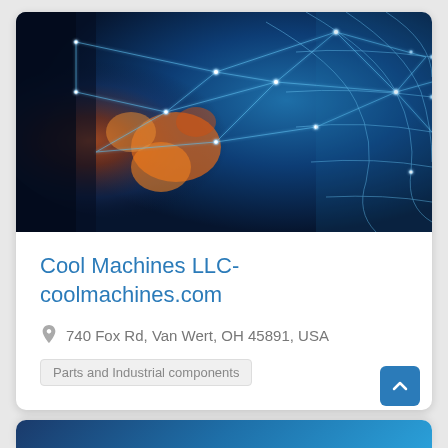[Figure (photo): Abstract technology/network visualization with blue glowing polygon grid lines over a dark space-like background with orange/fiery nebula on the left side and a curved grid mesh on the right — used as hero banner image for a company listing card]
Cool Machines LLC-coolmachines.com
740 Fox Rd, Van Wert, OH 45891, USA
Parts and Industrial components